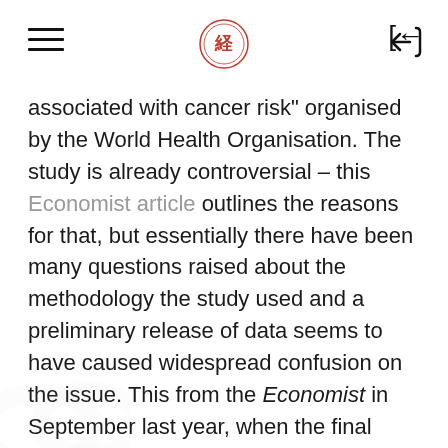[hamburger menu] [logo] [back button]
associated with cancer risk" organised by the World Health Organisation. The study is already controversial – this Economist article outlines the reasons for that, but essentially there have been many questions raised about the methodology the study used and a preliminary release of data seems to have caused widespread confusion on the issue. This from the Economist in September last year, when the final report was due to be released, on the subject of ‘recall bias’ and the Interphone study.